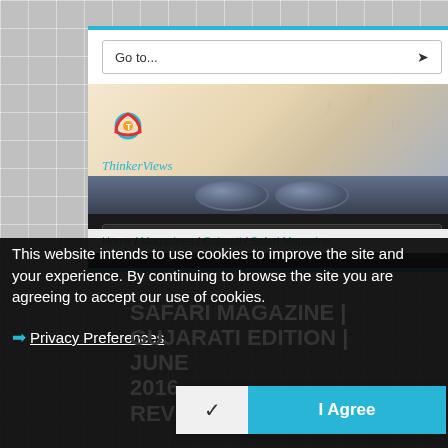[Figure (screenshot): ThinkerViews website screenshot showing navigation dropdowns, site logo with circular icon, banner with floating letters and glasses image at bottom]
Go to...
Go to...
Home / Magazines / Gujarati / Safari Magazine
This website intends to use cookies to improve the site and your experience. By continuing to browse the site you are agreeing to accept our use of cookies.
› Privacy Preferences
SAFARI MAGAZINE | GUJARATI EDITION | JUNE 2016 ... AND REVIEWS